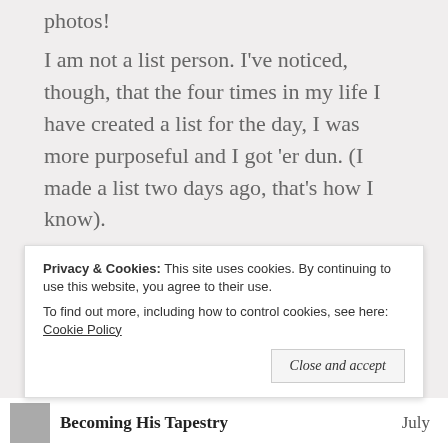photos!
I am not a list person. I've noticed, though, that the four times in my life I have created a list for the day, I was more purposeful and I got 'er dun. (I made a list two days ago, that's how I know).
★ Liked by 2 people
Privacy & Cookies: This site uses cookies. By continuing to use this website, you agree to their use. To find out more, including how to control cookies, see here: Cookie Policy
Close and accept
Becoming His Tapestry   July